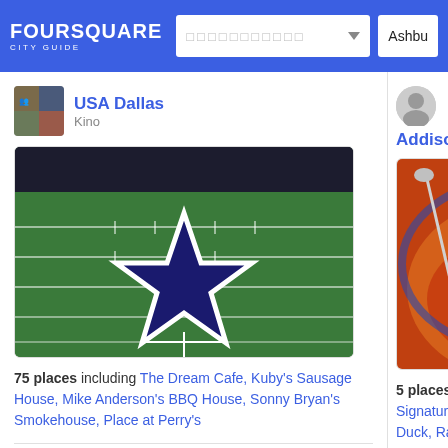FOURSQUARE CITY GUIDE
USA Dallas
Kino
[Figure (photo): Dallas Cowboys star logo on football field turf]
75 places including The Dream Cafe, Kuby's Sausage House, Mike Anderson's BBQ House, Sonny Bryan's Smokehouse, Place at Perry's
Addison re...
[Figure (photo): Bowl of soup/stew food photo]
5 places including Signature, Kenny's Duck, Ramen Haka...
Goin' North
Catheryn B.
11 places including WaterTower Theatre, Flying...
tested